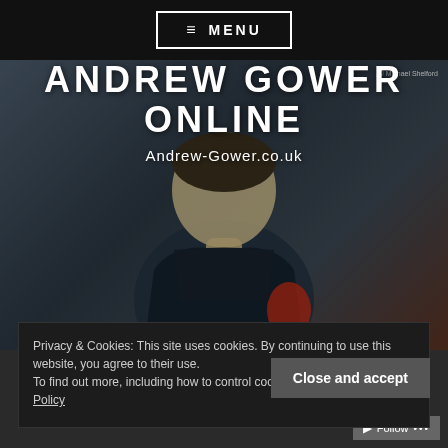≡ MENU
[Figure (photo): Portrait photo of Andrew Gower, a man in dark clothing against a dark background, with photo credit © Michael Shelford]
ANDREW GOWER ONLINE
Andrew-Gower.co.uk
MIDSOMER MURDERS AKA INSPECTOR
Privacy & Cookies: This site uses cookies. By continuing to use this website, you agree to their use. To find out more, including how to control cookies, see here: Cookie Policy
Close and accept
Follow